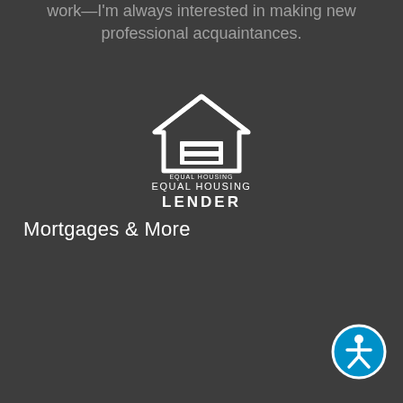work—I'm always interested in making new professional acquaintances.
[Figure (logo): Equal Housing Lender logo — white house outline with an equals sign inside, text reads EQUAL HOUSING LENDER]
Mortgages & More
[Figure (illustration): Accessibility icon — blue circle with white wheelchair-accessible person symbol]